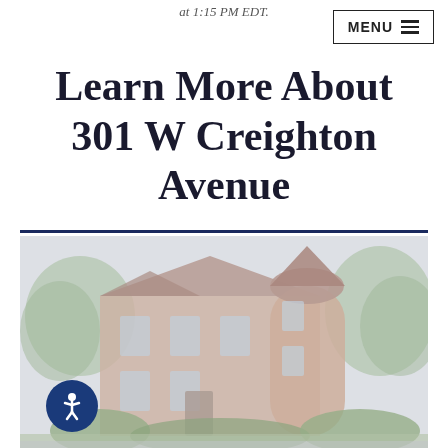at 1:15 PM EDT.
Learn More About 301 W Creighton Avenue
[Figure (photo): Exterior photograph of 301 W Creighton Avenue, a large historic Victorian-style brick building with a cylindrical turret, surrounded by trees and hedges.]